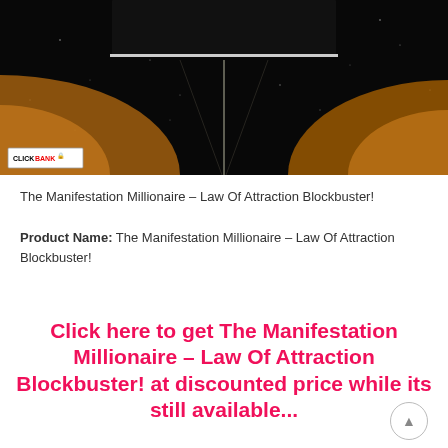[Figure (photo): Space/cosmic scene with dark background, orange/golden glowing light streaks emanating from bottom, with a video player frame at the top center and a ClickBank badge in the bottom-left corner]
The Manifestation Millionaire – Law Of Attraction Blockbuster!
Product Name: The Manifestation Millionaire – Law Of Attraction Blockbuster!
Click here to get The Manifestation Millionaire – Law Of Attraction Blockbuster! at discounted price while its still available...